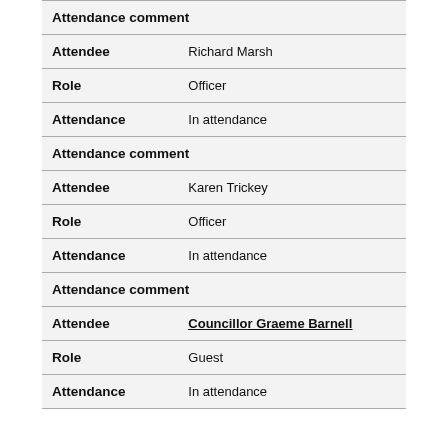| Attendance comment |  |
| Attendee | Richard Marsh |
| Role | Officer |
| Attendance | In attendance |
| Attendance comment |  |
| Attendee | Karen Trickey |
| Role | Officer |
| Attendance | In attendance |
| Attendance comment |  |
| Attendee | Councillor Graeme Barnell |
| Role | Guest |
| Attendance | In attendance |